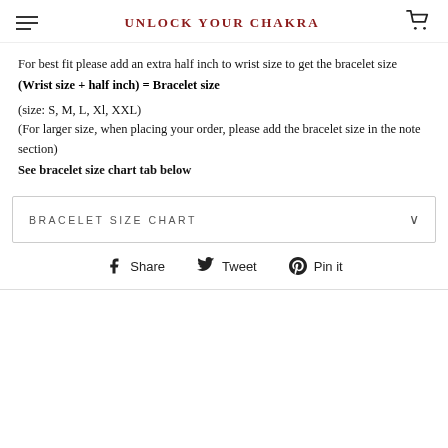UNLOCK YOUR CHAKRA
For best fit please add an extra half inch to wrist size to get the bracelet size
(Wrist size + half inch) = Bracelet size
(size: S, M, L, Xl, XXL)
(For larger size, when placing your order, please add the bracelet size in the note section)
See bracelet size chart tab below
BRACELET SIZE CHART
Share  Tweet  Pin it